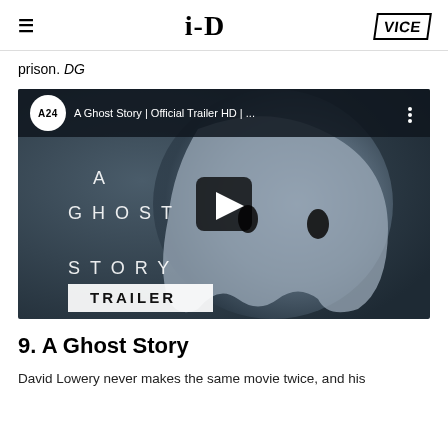i-D | VICE
prison. DG
[Figure (screenshot): YouTube video thumbnail for 'A Ghost Story | Official Trailer HD | ...' by A24. Shows a ghost figure in a white sheet against a dark background with the text 'A GHOST STORY TRAILER' and a play button overlay.]
9. A Ghost Story
David Lowery never makes the same movie twice, and his